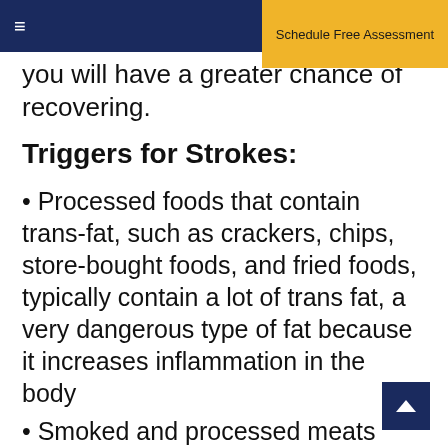≡   Schedule Free Assessment
you will have a greater chance of recovering.
Triggers for Strokes:
• Processed foods that contain trans-fat, such as crackers, chips, store-bought foods, and fried foods, typically contain a lot of trans fat, a very dangerous type of fat because it increases inflammation in the body
• Smoked and processed meats
• Table salt
• Continuous stress